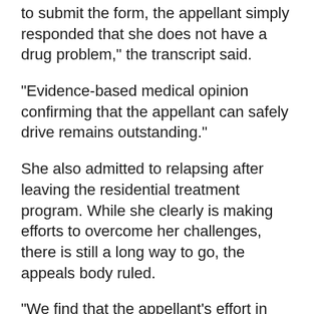to submit the form, the appellant simply responded that she does not have a drug problem," the transcript said.
"Evidence-based medical opinion confirming that the appellant can safely drive remains outstanding."
She also admitted to relapsing after leaving the residential treatment program. While she clearly is making efforts to overcome her challenges, there is still a long way to go, the appeals body ruled.
"We find that the appellant's effort in attending past alcohol treatment, while commendable, was likely not sufficient to address her issues," the transcript said.